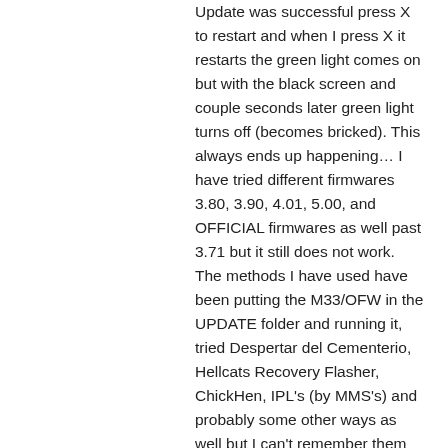Update was successful press X to restart and when I press X it restarts the green light comes on but with the black screen and couple seconds later green light turns off (becomes bricked). This always ends up happening… I have tried different firmwares 3.80, 3.90, 4.01, 5.00, and OFFICIAL firmwares as well past 3.71 but it still does not work. The methods I have used have been putting the M33/OFW in the UPDATE folder and running it, tried Despertar del Cementerio, Hellcats Recovery Flasher, ChickHen, IPL's (by MMS's) and probably some other ways as well but I can't remember them all right now. The MANY times my PSP has bricked trying to upgrade my firmware I tried different IPL's from Magic Memory Stick Creators and only 1